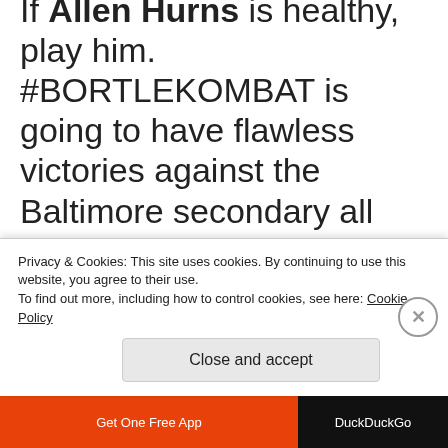If Allen Hurns is healthy, play him. #BORTLEKOMBAT is going to have flawless victories against the Baltimore secondary all day. Then you're left with two Kansas City players against the best defense in football. In this situation, I go with
Privacy & Cookies: This site uses cookies. By continuing to use this website, you agree to their use. To find out more, including how to control cookies, see here: Cookie Policy
Close and accept